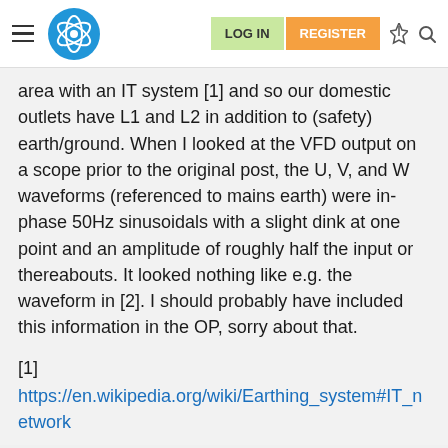LOG IN | REGISTER
area with an IT system [1] and so our domestic outlets have L1 and L2 in addition to (safety) earth/ground. When I looked at the VFD output on a scope prior to the original post, the U, V, and W waveforms (referenced to mains earth) were in-phase 50Hz sinusoidals with a slight dink at one point and an amplitude of roughly half the input or thereabouts. It looked nothing like e.g. the waveform in [2]. I should probably have included this information in the OP, sorry about that.
[1]
https://en.wikipedia.org/wiki/Earthing_system#IT_network